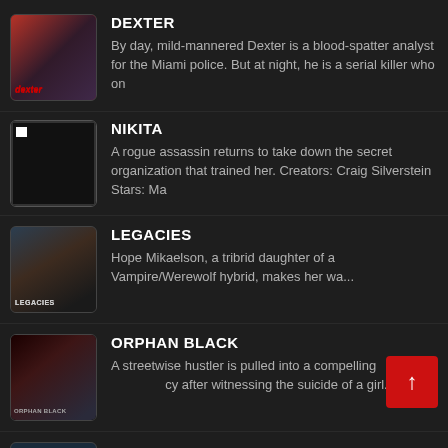DEXTER — By day, mild-mannered Dexter is a blood-spatter analyst for the Miami police. But at night, he is a serial killer who on
NIKITA — A rogue assassin returns to take down the secret organization that trained her. Creators: Craig Silverstein Stars: Ma
LEGACIES — Hope Mikaelson, a tribrid daughter of a Vampire/Werewolf hybrid, makes her wa...
ORPHAN BLACK — A streetwise hustler is pulled into a compelling [conspiracy] after witnessing the suicide of a girl...
AVATAR THE LAST AIRBENDER